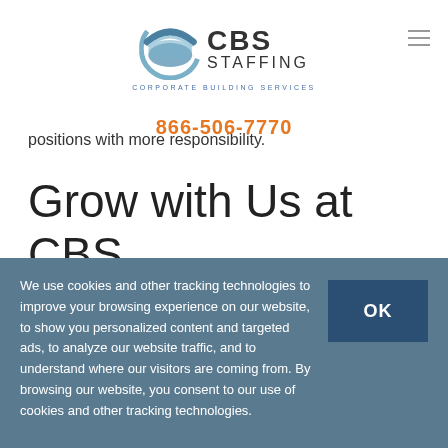[Figure (logo): CBS Staffing - Corporate Building Services logo with circular blue/grey wave graphic, bold CBS text and STAFFING text]
866-506-7770
positions with more responsibility.
Grow with Us at CBS
We use cookies and other tracking technologies to improve your browsing experience on our website, to show you personalized content and targeted ads, to analyze our website traffic, and to understand where our visitors are coming from. By browsing our website, you consent to our use of cookies and other tracking technologies.